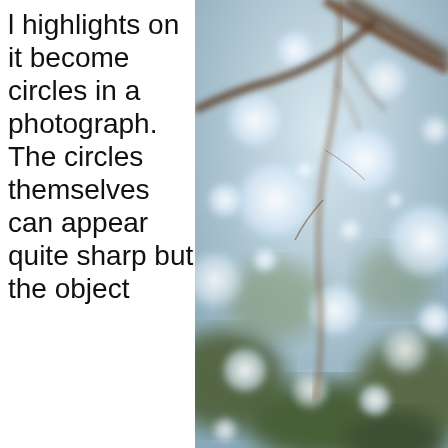l highlights on it become circles in a photograph. The circles themselves can appear quite sharp but the object
[Figure (photo): A blurry bokeh photograph of tree branches against a bright sky, with circular white bokeh highlights visible throughout the image. The branches are dark brown, and the background shows soft out-of-focus foliage and light spots.]